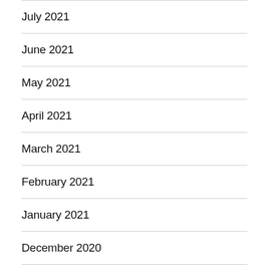July 2021
June 2021
May 2021
April 2021
March 2021
February 2021
January 2021
December 2020
November 2020
July 2020